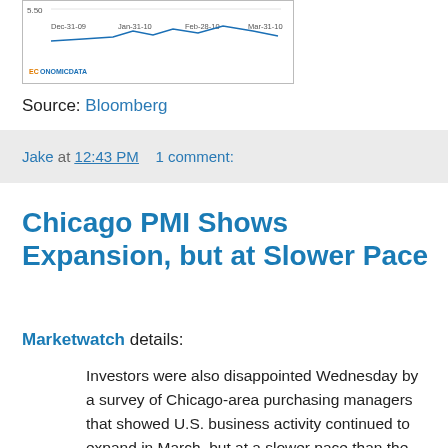[Figure (continuous-plot): A partial line chart image showing data from Dec-31-09 through Mar-31-10, with an ECONOMICDATA watermark/logo at bottom left. The chart appears cropped at the top.]
Source: Bloomberg
Jake at 12:43 PM    1 comment:
Chicago PMI Shows Expansion, but at Slower Pace
Marketwatch details:
Investors were also disappointed Wednesday by a survey of Chicago-area purchasing managers that showed U.S. business activity continued to expand in March, but at a slower pace than the previous month. The Institute for Supply Management-Chicago said its business barometer slipped to 58.8 in March, from a nearly five-year high of 62.6 in February. Economists...